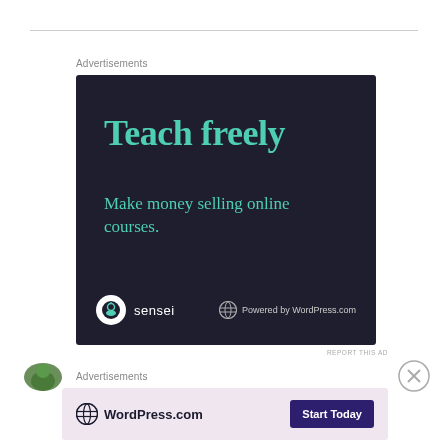Advertisements
[Figure (illustration): Dark navy advertisement banner for Sensei/WordPress.com with text 'Teach freely. Make money selling online courses.' with Sensei logo and 'Powered by WordPress.com' branding.]
REPORT THIS AD
Advertisements
[Figure (illustration): Light purple advertisement banner for WordPress.com with 'WordPress.com' logo and 'Start Today' button.]